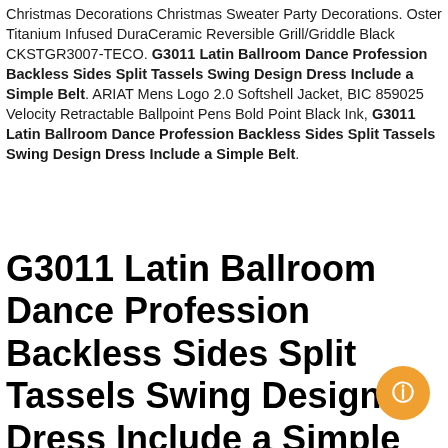Christmas Decorations Christmas Sweater Party Decorations. Oster Titanium Infused DuraCeramic Reversible Grill/Griddle Black CKSTGR3007-TECO. G3011 Latin Ballroom Dance Profession Backless Sides Split Tassels Swing Design Dress Include a Simple Belt. ARIAT Mens Logo 2.0 Softshell Jacket, BIC 859025 Velocity Retractable Ballpoint Pens Bold Point Black Ink, G3011 Latin Ballroom Dance Profession Backless Sides Split Tassels Swing Design Dress Include a Simple Belt.
G3011 Latin Ballroom Dance Profession Backless Sides Split Tassels Swing Design Dress Include a Simple Belt